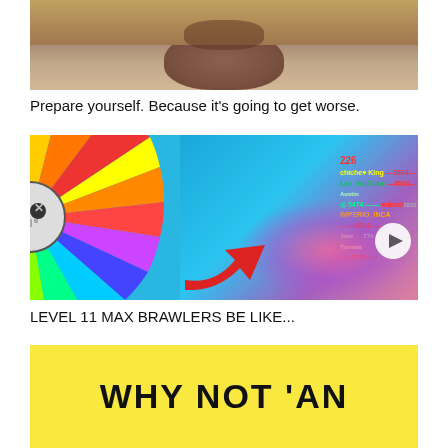[Figure (photo): Close-up photo of a man's face/chin area, wearing a gray hoodie, looking at camera]
Prepare yourself. Because it's going to get worse.
[Figure (screenshot): Gaming screenshot showing a spinning wheel with colorful segments and brawler characters on the left, and a Brawl Stars gameplay screenshot on the right with player names and scores including Lex_YouTube 4534, chiche King 3694, mikeci 3920, IMPERIO_INCA 3014, Jake 774, Torneta 3773, with a large red arrow and play button overlay]
LEVEL 11 MAX BRAWLERS BE LIKE...
[Figure (photo): Yellow background with large bold black text reading WHY NOT 'AN]